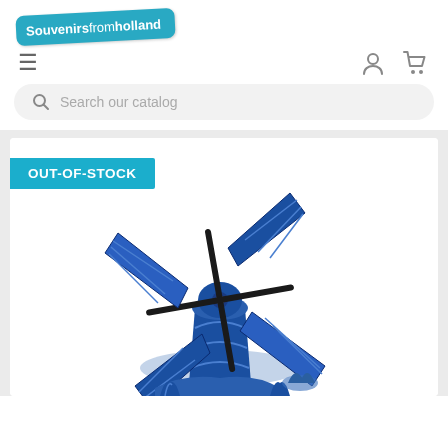[Figure (logo): Souvenirsfromholland logo on teal rounded rectangle badge, slightly rotated]
≡  [person icon] [cart icon]
Search our catalog
[Figure (photo): Product photo of a blue Delft ceramic windmill figurine with rotating blades, shown out of stock. The windmill is blue and white Delft pottery style with black metal blades. An OUT-OF-STOCK badge overlays the top-left of the image.]
OUT-OF-STOCK